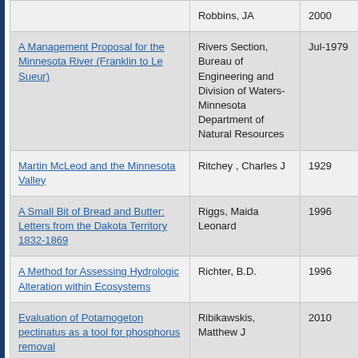| Title | Author | Year |
| --- | --- | --- |
|  | Robbins, JA | 2000 |
| A Management Proposal for the Minnesota River (Franklin to Le Sueur) | Rivers Section, Bureau of Engineering and Division of Waters- Minnesota Department of Natural Resources | Jul-1979 |
| Martin McLeod and the Minnesota Valley | Ritchey , Charles J | 1929 |
| A Small Bit of Bread and Butter: Letters from the Dakota Territory 1832-1869 | Riggs, Maida Leonard | 1996 |
| A Method for Assessing Hydrologic Alteration within Ecosystems | Richter, B.D. | 1996 |
| Evaluation of Potamogeton pectinatus as a tool for phosphorus removal | Ribikawskis, Matthew J | 2010 |
| Hillslope Hydrology and Soil Mopholgy for a Wetland Basin in South-Central Minnesota | Reuter, R.J. | 2003 |